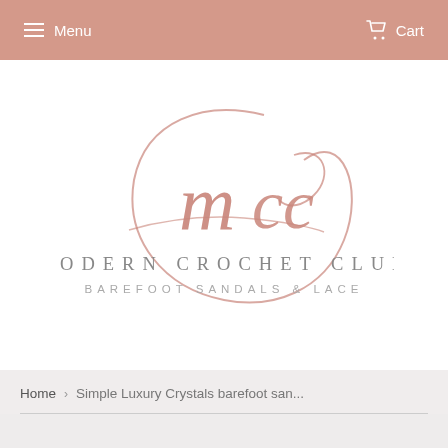Menu   Cart
[Figure (logo): Modern Crochet Club logo: decorative rose-gold script 'mcc' monogram above text 'MODERN CROCHET CLUB' and 'BAREFOOT SANDALS & LACE' in grey spaced sans-serif lettering]
Home › Simple Luxury Crystals barefoot san...